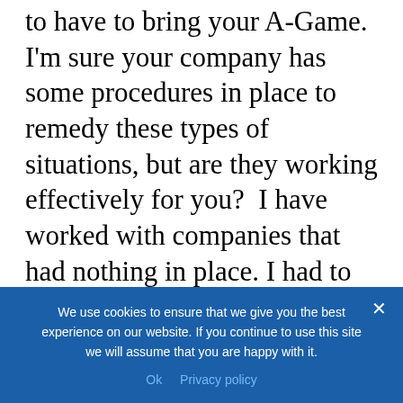to have to bring your A-Game. I'm sure your company has some procedures in place to remedy these types of situations, but are they working effectively for you?  I have worked with companies that had nothing in place. I had to rely on the school of the hard knocks and it was not easy. This is why I decided to do this episode and offer what I've learned which increased my chances of coming off as the winning vendor. Here they are below:
We use cookies to ensure that we give you the best experience on our website. If you continue to use this site we will assume that you are happy with it.
Ok   Privacy policy